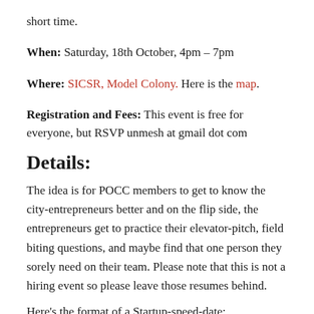short time.
When: Saturday, 18th October, 4pm – 7pm
Where: SICSR, Model Colony. Here is the map.
Registration and Fees: This event is free for everyone, but RSVP unmesh at gmail dot com
Details:
The idea is for POCC members to get to know the city-entrepreneurs better and on the flip side, the entrepreneurs get to practice their elevator-pitch, field biting questions, and maybe find that one person they sorely need on their team. Please note that this is not a hiring event so please leave those resumes behind.
Here's the format of a Startup-speed-date: